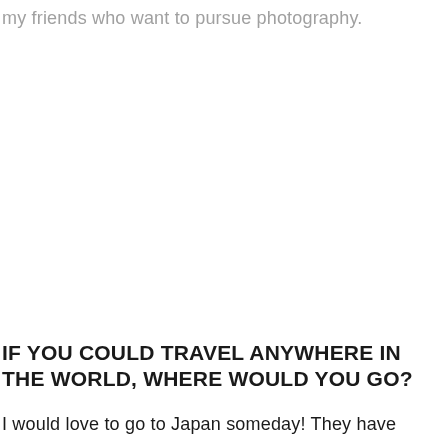my friends who want to pursue photography.
IF YOU COULD TRAVEL ANYWHERE IN THE WORLD, WHERE WOULD YOU GO?
I would love to go to Japan someday! They have